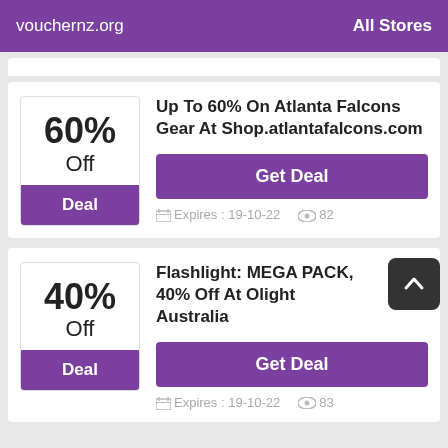vouchernz.org   All Stores
60% Off - Up To 60% On Atlanta Falcons Gear At Shop.atlantafalcons.com
Deal
Get Deal
Expires : 19-10-22   82
40% Off - Flashlight: MEGA PACK, 40% Off At Olight Australia
Deal
Get Deal
Expires : 19-10-22   83